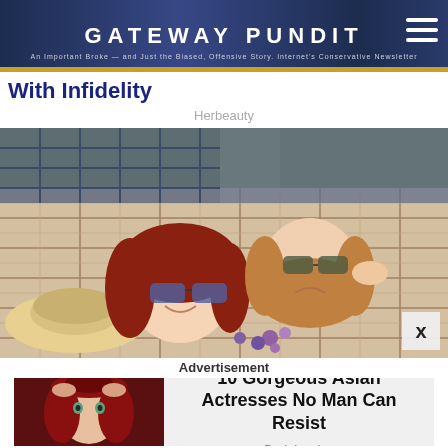GATEWAY PUNDIT
With Infidelity
Herbeauty
[Figure (photo): Two young women lying on a plaid blanket outdoors, smiling and wearing sunglasses, with a straw hat and flowers visible]
Advertisement
[Figure (photo): Advertisement: Woman with red hair and hat. Headline: 10 Gorgeous Asian Actresses No Man Can Resist. Source: Brainberries]